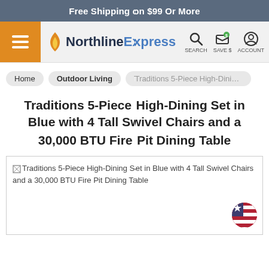Free Shipping on $99 Or More
[Figure (logo): NorthlineExpress logo with hamburger menu, search, save $, and account icons]
Home | Outdoor Living | Traditions 5-Piece High-Dining Set...
Traditions 5-Piece High-Dining Set in Blue with 4 Tall Swivel Chairs and a 30,000 BTU Fire Pit Dining Table
[Figure (photo): Traditions 5-Piece High-Dining Set in Blue with 4 Tall Swivel Chairs and a 30,000 BTU Fire Pit Dining Table — product image placeholder]